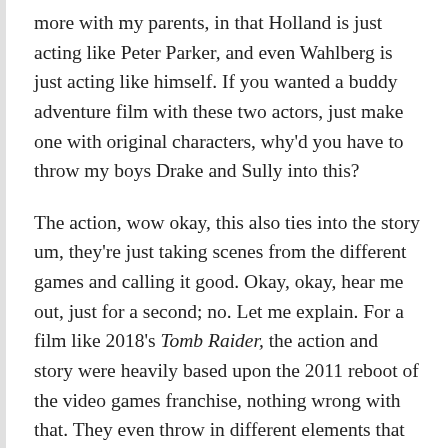more with my parents, in that Holland is just acting like Peter Parker, and even Wahlberg is just acting like himself. If you wanted a buddy adventure film with these two actors, just make one with original characters, why'd you have to throw my boys Drake and Sully into this?
The action, wow okay, this also ties into the story um, they're just taking scenes from the different games and calling it good. Okay, okay, hear me out, just for a second; no. Let me explain. For a film like 2018's Tomb Raider, the action and story were heavily based upon the 2011 reboot of the video games franchise, nothing wrong with that. They even throw in different elements that only showed up in the sequels, like how she uses an ice axe. See, that's the difference—?